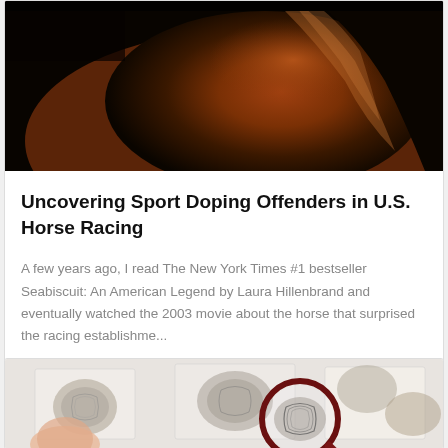[Figure (photo): Close-up photo of a horse's back and mane against a dark/black background, warm brown tones]
Uncovering Sport Doping Offenders in U.S. Horse Racing
A few years ago, I read The New York Times #1 bestseller Seabiscuit: An American Legend by Laura Hillenbrand and eventually watched the 2003 movie about the horse that surprised the racing establishme...
08-17-2015   250   0   0   Learn more
[Figure (photo): Fingerprints on paper viewed through a magnifying glass with a dark red/maroon rim]